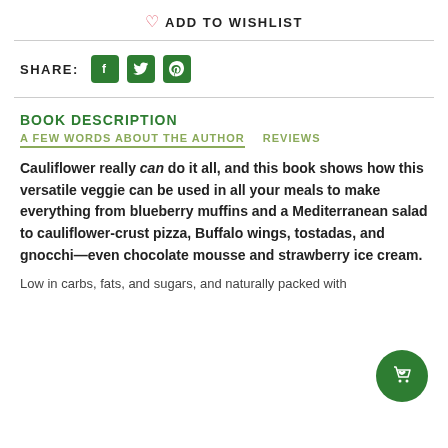♡ ADD TO WISHLIST
SHARE:
BOOK DESCRIPTION
A FEW WORDS ABOUT THE AUTHOR   REVIEWS
Cauliflower really can do it all, and this book shows how this versatile veggie can be used in all your meals to make everything from blueberry muffins and a Mediterranean salad to cauliflower-crust pizza, Buffalo wings, tostadas, and gnocchi—even chocolate mousse and strawberry ice cream.
Low in carbs, fats, and sugars, and naturally packed with